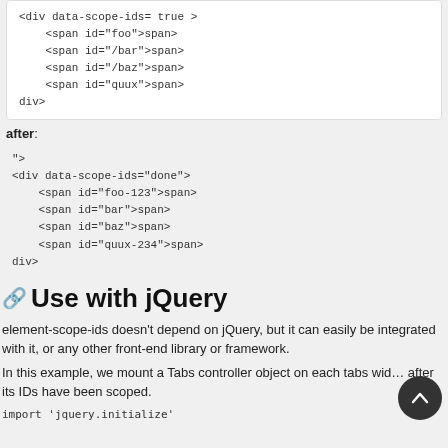<div data-scope-ids= true >
    <span id="foo">span>
    <span id="/bar">span>
    <span id="/baz">span>
    <span id="quux">span>
div>
after:
">
<div data-scope-ids="done">
    <span id="foo-123">span>
    <span id="bar">span>
    <span id="baz">span>
    <span id="quux-234">span>
div>
Use with jQuery
element-scope-ids doesn't depend on jQuery, but it can easily be integrated with it, or any other front-end library or framework.
In this example, we mount a Tabs controller object on each tabs widget, after its IDs have been scoped.
import 'jquery.initialize'